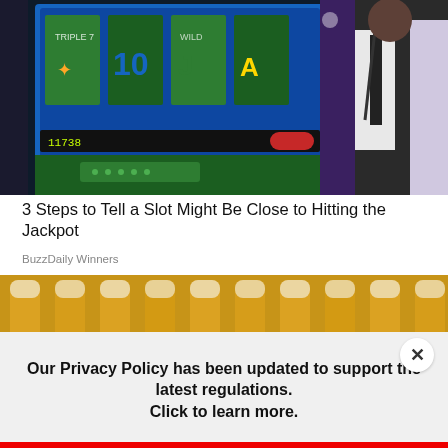[Figure (photo): Casino scene: slot machine screen on left showing symbols and numbers, person in dark suit with lanyard in center, another person in light clothing on right, indoor casino environment]
3 Steps to Tell a Slot Might Be Close to Hitting the Jackpot
BuzzDaily Winners
[Figure (photo): Row of golden beer glasses or wheat/grain closeup, warm amber tones]
Our Privacy Policy has been updated to support the latest regulations. Click to learn more.